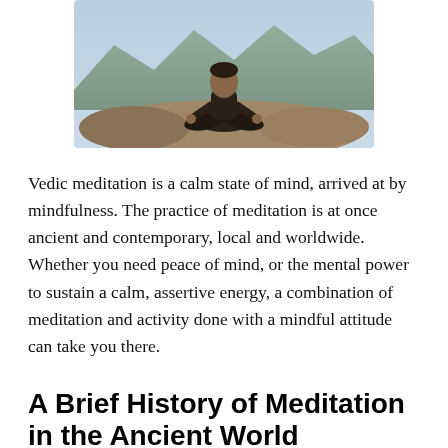[Figure (photo): A person sitting in a meditation pose (lotus position) on rocks outdoors, with mountains in the background.]
Vedic meditation is a calm state of mind, arrived at by mindfulness. The practice of meditation is at once ancient and contemporary, local and worldwide. Whether you need peace of mind, or the mental power to sustain a calm, assertive energy, a combination of meditation and activity done with a mindful attitude can take you there.
A Brief History of Meditation in the Ancient World
According to some scholars, the earliest records